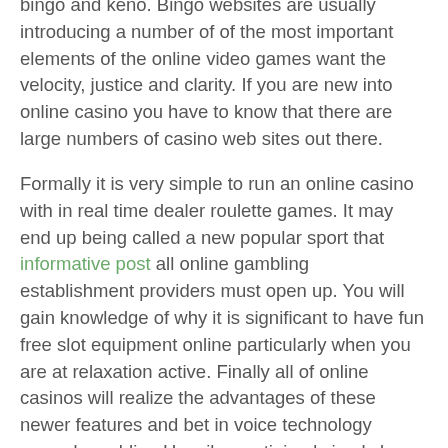bingo and keno. Bingo websites are usually introducing a number of of the most important elements of the online video games want the velocity, justice and clarity. If you are new into online casino you have to know that there are large numbers of casino web sites out there.
Formally it is very simple to run an online casino with in real time dealer roulette games. It may end up being called a new popular sport that informative post all online gambling establishment providers must open up. You will gain knowledge of why it is significant to have fun free slot equipment online particularly when you are at relaxation active. Finally all of online casinos will realize the advantages of these newer features and bet in voice technology around gambling Heavily scrutinized simply by regulators and relying in large levels of service quality, the gaming industry can benefit from large-scale implementation of voice technology greatly.